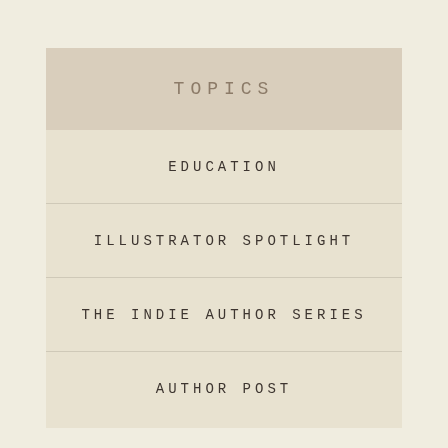TOPICS
EDUCATION
ILLUSTRATOR SPOTLIGHT
THE INDIE AUTHOR SERIES
AUTHOR POST